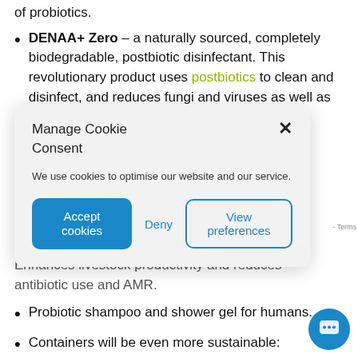of probiotics.
DENAA+ Zero – a naturally sourced, completely biodegradable, postbiotic disinfectant. This revolutionary product uses postbiotics to clean and disinfect, and reduces fungi and viruses as well as bacteria.
[Figure (screenshot): Cookie consent modal dialog with title 'Manage Cookie Consent', body text 'We use cookies to optimise our website and our service.', and three buttons: 'Accept cookies' (blue filled), 'Deny' (text), 'View preferences' (outlined)]
Enhances livestock productivity and reduces antibiotic use and AMR.
Probiotic shampoo and shower gel for humans.
Containers will be even more sustainable:
Ocean-recycled plastic increases to 10%
Thicker, high-density polyethylene (HDPE).